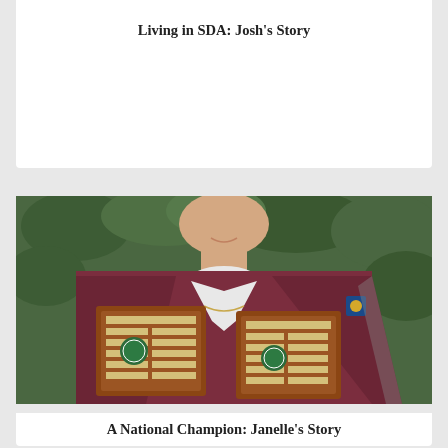Living in SDA: Josh’s Story
[Figure (photo): A woman in a maroon sports jacket holding two wooden shield trophies with green and white bowls club emblems, standing in front of green foliage]
A National Champion: Janelle’s Story